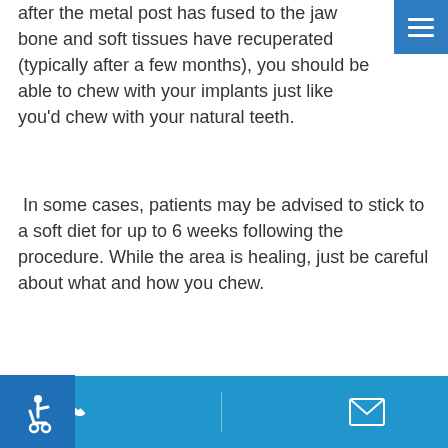While it can take some time for your implants to fully heal, after the metal post has fused to the jaw bone and soft tissues have recuperated (typically after a few months), you should be able to chew with your implants just like you'd chew with your natural teeth.
In some cases, patients may be advised to stick to a soft diet for up to 6 weeks following the procedure. While the area is healing, just be careful about what and how you chew.
If you have more questions about dental implants, please contact our London dentists to book a consultation.
Phone and email contact icons